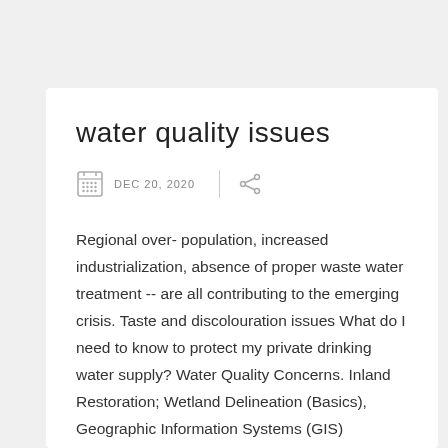water quality issues
DEC 20, 2020
Regional over- population, increased industrialization, absence of proper waste water treatment -- are all contributing to the emerging crisis. Taste and discolouration issues What do I need to know to protect my private drinking water supply? Water Quality Concerns. Inland Restoration; Wetland Delineation (Basics), Geographic Information Systems (GIS)